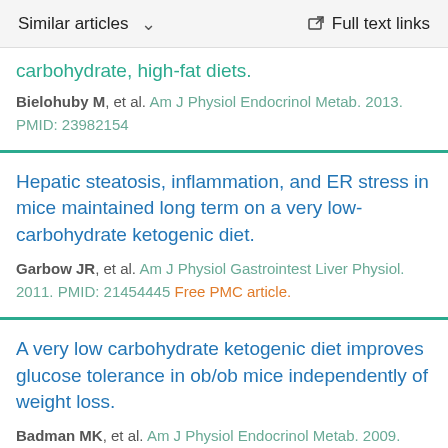Similar articles   ∨   Full text links
carbohydrate, high-fat diets.
Bielohuby M, et al. Am J Physiol Endocrinol Metab. 2013.
PMID: 23982154
Hepatic steatosis, inflammation, and ER stress in mice maintained long term on a very low-carbohydrate ketogenic diet.
Garbow JR, et al. Am J Physiol Gastrointest Liver Physiol. 2011. PMID: 21454445 Free PMC article.
A very low carbohydrate ketogenic diet improves glucose tolerance in ob/ob mice independently of weight loss.
Badman MK, et al. Am J Physiol Endocrinol Metab. 2009.
PMID: 19738035 Free PMC article.